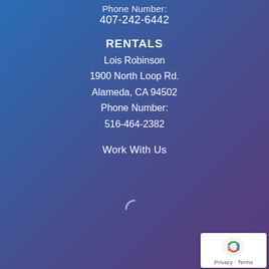Phone Number:
407-242-6442
RENTALS
Lois Robinson
1900 North Loop Rd.
Alameda, CA 94502
Phone Number:
516-464-2382
Work With Us
[Figure (other): Loading spinner icon, partially visible]
[Figure (logo): Google reCAPTCHA badge with Privacy and Terms links]